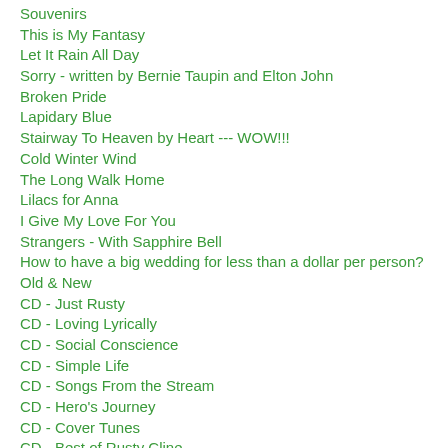Souvenirs
This is My Fantasy
Let It Rain All Day
Sorry - written by Bernie Taupin and Elton John
Broken Pride
Lapidary Blue
Stairway To Heaven by Heart --- WOW!!!
Cold Winter Wind
The Long Walk Home
Lilacs for Anna
I Give My Love For You
Strangers - With Sapphire Bell
How to have a big wedding for less than a dollar per person?
Old & New
CD - Just Rusty
CD - Loving Lyrically
CD - Social Conscience
CD - Simple Life
CD - Songs From the Stream
CD - Hero's Journey
CD - Cover Tunes
CD - Best of Rusty Cline
CD - Touch Your Soul
Love - A Great Point of View
Yesterday's Eyes